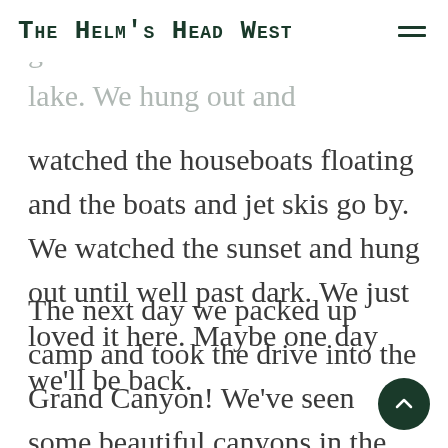The Helm's Head West
ght our chairs down to the lake. We hung out and
watched the houseboats floating and the boats and jet skis go by. We watched the sunset and hung out until well past dark. We just loved it here. Maybe one day we'll be back.
The next day we packed up camp and took the drive into the Grand Canyon! We've seen some beautiful canyons in the past few weeks, but this is the canyon of all canyons. Formed by the mighty Colorado River, along with